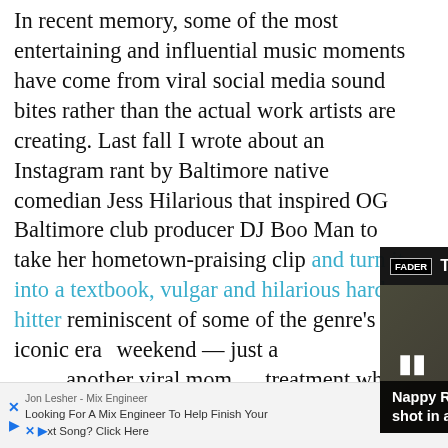In recent memory, some of the most entertaining and influential music moments have come from viral social media sound bites rather than the actual work artists are creating. Last fall I wrote about an Instagram rant by Baltimore native comedian Jess Hilarious that inspired OG Baltimore club producer DJ Boo Man to take her hometown-praising clip and turn it into a textbook, vulgar and hilarious hard hitter reminiscent of some of the genre's iconic era... weekend — just another viral mom... treatment when a... D.C. rapper Shy G... old go-go produce...
[Figure (screenshot): A popup overlay showing a video player with 'Top Articles' header bar with FADER logo, pause and mute controls, an arrow button, and a headline caption reading 'Nappy Roots rapper Fish Scales shot in attempted kidnapping'. The video shows a man in camouflage clothing.]
Jon Lesher - Mix Engineer
Looking For A Mix Engineer To Help Finish Your Next Song? Click Here